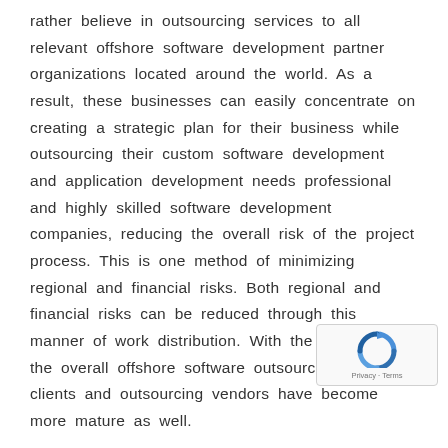rather believe in outsourcing services to all relevant offshore software development partner organizations located around the world. As a result, these businesses can easily concentrate on creating a strategic plan for their business while outsourcing their custom software development and application development needs professional and highly skilled software development companies, reducing the overall risk of the project process. This is one method of minimizing regional and financial risks. Both regional and financial risks can be reduced through this manner of work distribution. With the growth of the overall offshore software outsourcing industry, clients and outsourcing vendors have become more mature as well.
[Figure (other): reCAPTCHA badge with circular arrow icon and Privacy · Terms text]